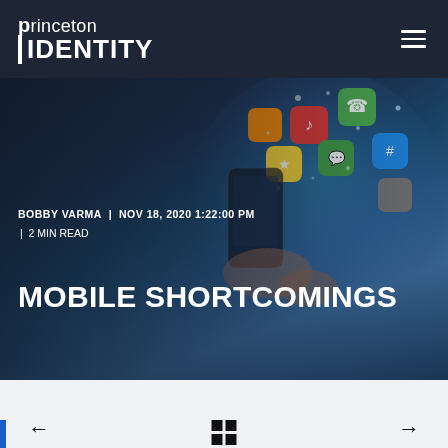princeton IDENTITY
[Figure (photo): Hero background image showing a hand holding a smartphone with colorful app icons floating above it in a glowing digital display]
BOBBY VARMA  |  NOV 18, 2020 1:22:00 PM  |  2 MIN READ
MOBILE SHORTCOMINGS
← PREVIOUS
⊞
NEXT →